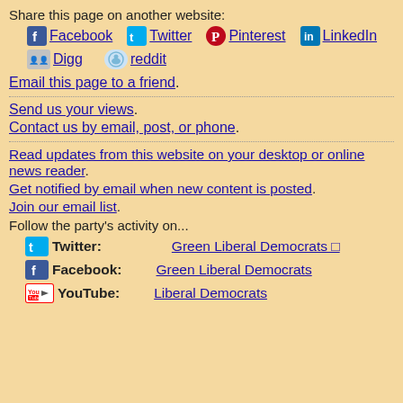Share this page on another website:
Facebook  Twitter  Pinterest  LinkedIn
Digg  reddit
Email this page to a friend.
Send us your views.
Contact us by email, post, or phone.
Read updates from this website on your desktop or online news reader.
Get notified by email when new content is posted.
Join our email list.
Follow the party's activity on...
Twitter: Green Liberal Democrats □
Facebook: Green Liberal Democrats
YouTube: Liberal Democrats